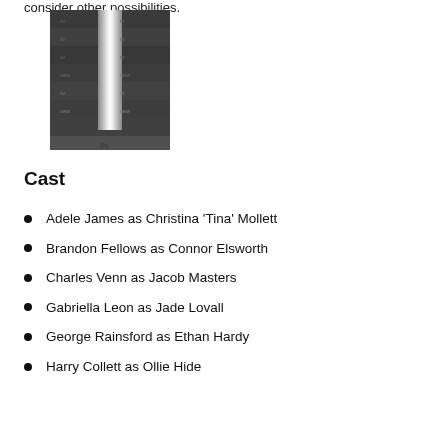consider other possibilities.
[Figure (other): A dark grayscale image showing a grid-like pattern with a bright vertical stripe in the center, partially cropped at the bottom with a label '(b)']
Cast
Adele James as Christina 'Tina' Mollett
Brandon Fellows as Connor Elsworth
Charles Venn as Jacob Masters
Gabriella Leon as Jade Lovall
George Rainsford as Ethan Hardy
Harry Collett as Ollie Hide